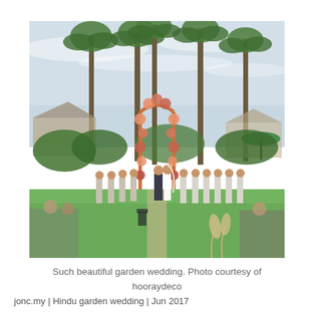[Figure (photo): Outdoor garden wedding ceremony with palm trees in the background. Bride and groom stand at a floral arch in the center. Groomsmen in white shirts and grey pants stand to the left. Bridesmaids in light grey dresses stand to the right. Guests and photographers visible in the foreground.]
Such beautiful garden wedding. Photo courtesy of hooraydeco
jonc.my | Hindu garden wedding | Jun 2017